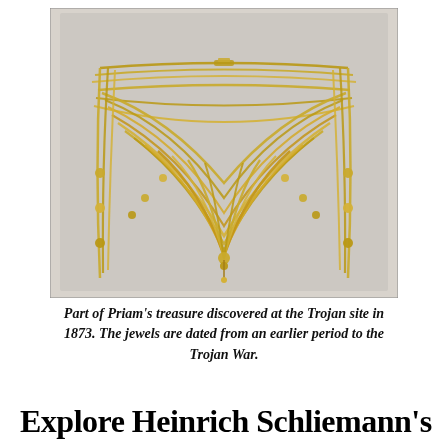[Figure (photo): A gold multi-strand draping necklace, part of Priam's treasure discovered at the Trojan site in 1873, displayed against a light gray background. The necklace features many strands of golden beads arranged in cascading swag patterns.]
Part of Priam's treasure discovered at the Trojan site in 1873. The jewels are dated from an earlier period to the Trojan War.
Explore Heinrich Schliemann's